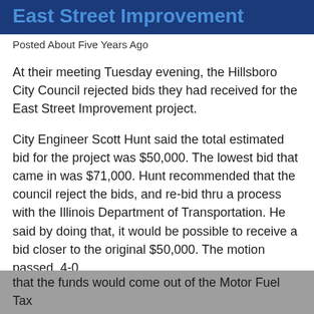East Street Improvement
Posted About Five Years Ago
At their meeting Tuesday evening, the Hillsboro City Council rejected bids they had received for the East Street Improvement project.
City Engineer Scott Hunt said the total estimated bid for the project was $50,000. The lowest bid that came in was $71,000. Hunt recommended that the council reject the bids, and re-bid thru a process with the Illinois Department of Transportation. He said by doing that, it would be possible to receive a bid closer to the original $50,000. The motion passed, 4-0.
After that, a separate motion was made to appropriate an additional $7,500 towards the project, based on a recommendation from IDOT. Hunt said that the funds would come out of the Motor Fuel Tax